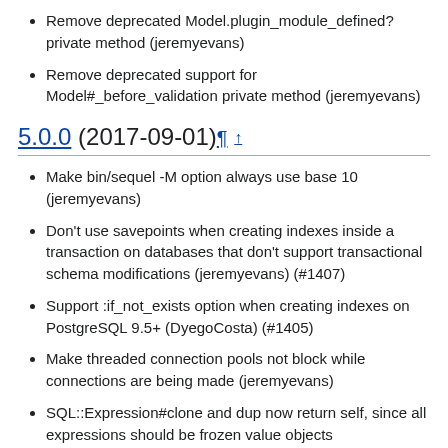Remove deprecated Model.plugin_module_defined? private method (jeremyevans)
Remove deprecated support for Model#_before_validation private method (jeremyevans)
5.0.0 (2017-09-01)¶ ↑
Make bin/sequel -M option always use base 10 (jeremyevans)
Don't use savepoints when creating indexes inside a transaction on databases that don't support transactional schema modifications (jeremyevans) (#1407)
Support :if_not_exists option when creating indexes on PostgreSQL 9.5+ (DyegoCosta) (#1405)
Make threaded connection pools not block while connections are being made (jeremyevans)
SQL::Expression#clone and dup now return self, since all expressions should be frozen value objects (jeremyevans)
Don't create empty arrays for unused association callbacks (jeremyevans)
Cache association method name symbols instead of recomputing them everytime (jeremyevans)